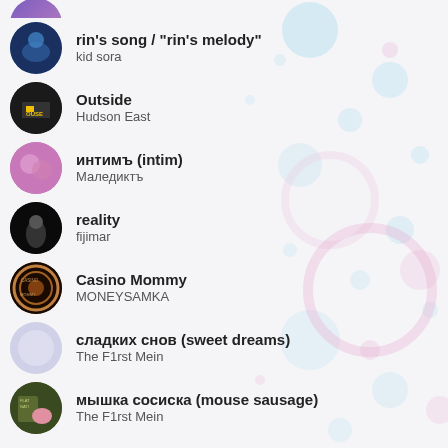rin's song / "rin's melody" — kid sora
Outside — Hudson East
интимъ (intim) — Маледиктъ
reality — fijimar
Casino Mommy — MONEYSAMKA
сладких снов (sweet dreams) — The F1rst Mein
мышка сосиска (mouse sausage) — The F1rst Mein